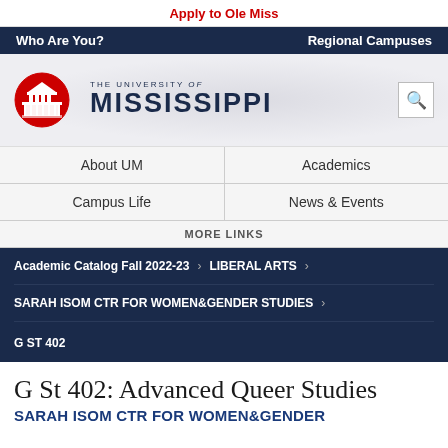Apply to Ole Miss
Who Are You? | Regional Campuses
[Figure (logo): The University of Mississippi logo with red circular seal and bold navy text]
About UM
Academics
Campus Life
News & Events
MORE LINKS
Academic Catalog Fall 2022-23 › LIBERAL ARTS ›
SARAH ISOM CTR FOR WOMEN&GENDER STUDIES ›
G ST 402
G St 402: Advanced Queer Studies
SARAH ISOM CTR FOR WOMEN&GENDER